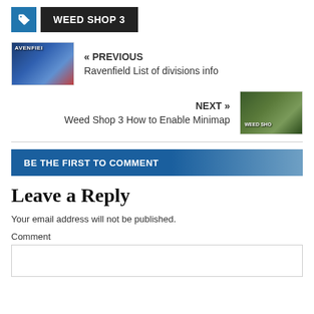WEED SHOP 3
« PREVIOUS
Ravenfield List of divisions info
NEXT »
Weed Shop 3 How to Enable Minimap
BE THE FIRST TO COMMENT
Leave a Reply
Your email address will not be published.
Comment